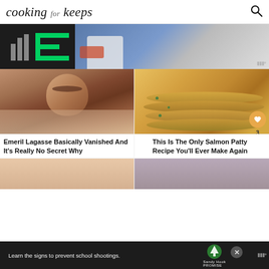cooking for keeps
[Figure (photo): Advertisement banner with black background showing green geometric logo (stacked bar chart and bracket/E shape) and a photo of a child with a toy car. Moat logo visible on right.]
[Figure (photo): Close-up photo of Emeril Lagasse's face, a middle-aged man with brown hair.]
[Figure (photo): Stack of golden-brown salmon patties with green herbs, arranged in a tower on a white plate.]
Emeril Lagasse Basically Vanished And It's Really No Secret Why
This Is The Only Salmon Patty Recipe You'll Ever Make Again
[Figure (photo): Partial photo at bottom left — a person's face, blurred/cropped.]
[Figure (photo): Partial photo at bottom right — a person with dark hair, cropped.]
[Figure (photo): Bottom advertisement banner: dark background with text 'Learn the signs to prevent school shootings.' Sandy Hook Promise logo (tree) and Moat logo.]